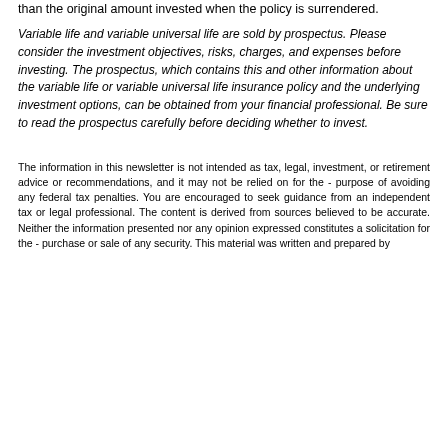than the original amount invested when the policy is surrendered.
Variable life and variable universal life are sold by prospectus. Please consider the investment objectives, risks, charges, and expenses before investing. The prospectus, which contains this and other information about the variable life or variable universal life insurance policy and the underlying investment options, can be obtained from your financial professional. Be sure to read the prospectus carefully before deciding whether to invest.
The information in this newsletter is not intended as tax, legal, investment, or retirement advice or recommendations, and it may not be relied on for the purpose of avoiding any federal tax penalties. You are encouraged to seek guidance from an independent tax or legal professional. The content is derived from sources believed to be accurate. Neither the information presented nor any opinion expressed constitutes a solicitation for the purchase or sale of any security. This material was written and prepared by